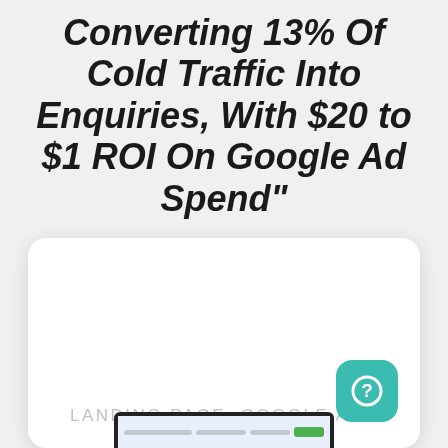Converting 13% Of Cold Traffic Into Enquiries, With $20 to $1 ROI On Google Ad Spend"
[Figure (screenshot): A white card/panel with the label 'LANDING PAGE, GOOGLE ADS' in light gray centered text, a teal rounded-rectangle help/chat button with a question mark icon in the bottom-right corner, and the top of a laptop screen mockup at the bottom edge of the card.]